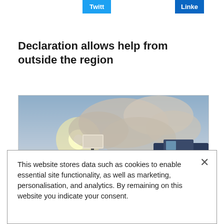Twitt
Linke
Declaration allows help from outside the region
[Figure (photo): Outdoor photo showing a fire truck or emergency vehicle with a sign post in the foreground, large smoke clouds and bright sun in the sky]
This website stores data such as cookies to enable essential site functionality, as well as marketing, personalisation, and analytics. By remaining on this website you indicate your consent.